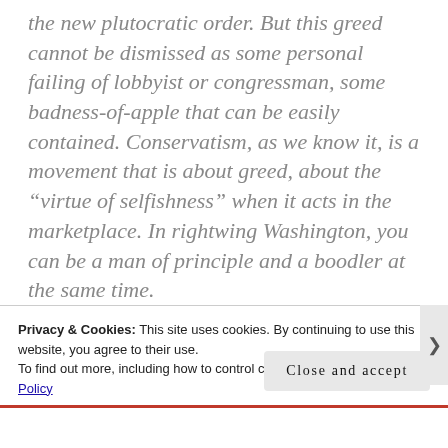the new plutocratic order. But this greed cannot be dismissed as some personal failing of lobbyist or congressman, some badness-of-apple that can be easily contained. Conservatism, as we know it, is a movement that is about greed, about the “virtue of selfishness” when it acts in the marketplace. In rightwing Washington, you can be a man of principle and a boodler at the same time.
Privacy & Cookies: This site uses cookies. By continuing to use this website, you agree to their use.
To find out more, including how to control cookies, see here: Cookie Policy
Close and accept